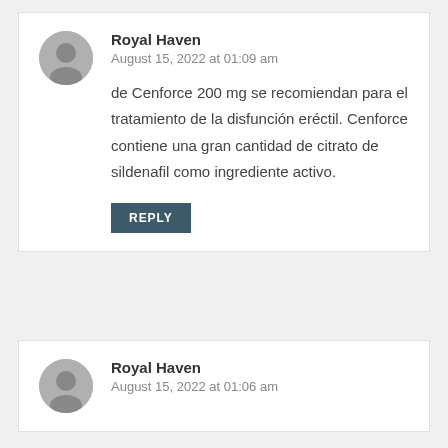Royal Haven
August 15, 2022 at 01:09 am
de Cenforce 200 mg se recomiendan para el tratamiento de la disfunción eréctil. Cenforce contiene una gran cantidad de citrato de sildenafil como ingrediente activo.
REPLY
Royal Haven
August 15, 2022 at 01:06 am